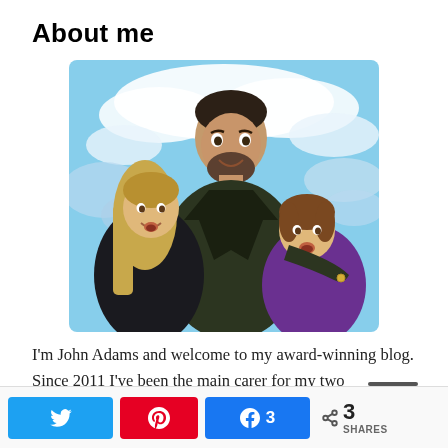About me
[Figure (illustration): Illustrated family portrait of a man with two children (a girl and a younger child) against a blue sky background with stylized clouds]
I'm John Adams and welcome to my award-winning blog. Since 2011 I've been the main carer for my two
Twitter share button, Pinterest button, Facebook 3, Share 3 SHARES